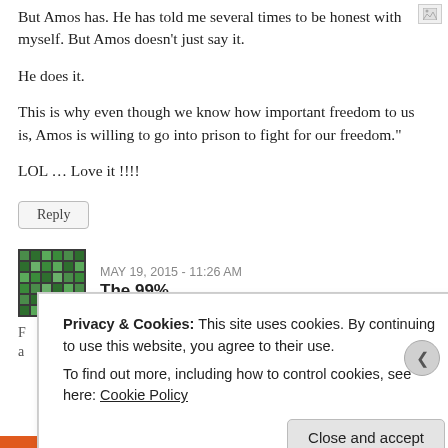But Amos has. He has told me several times to be honest with myself. But Amos doesn't just say it.
He does it.
This is why even though we know how important freedom to us is, Amos is willing to go into prison to fight for our freedom."
LOL … Love it !!!!
Reply
MAY 19, 2015 - 11:26 AM
The 99%
Privacy & Cookies: This site uses cookies. By continuing to use this website, you agree to their use.
To find out more, including how to control cookies, see here: Cookie Policy
Close and accept